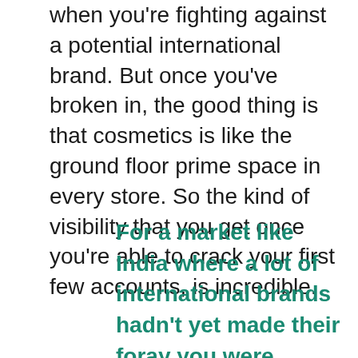when you're fighting against a potential international brand. But once you've broken in, the good thing is that cosmetics is like the ground floor prime space in every store. So the kind of visibility that you get once you're able to crack your first few accounts, is incredible.
For a market like India where a lot of international brands hadn't yet made their foray you were competing with new brands as well as international brands. And our retailer would any day